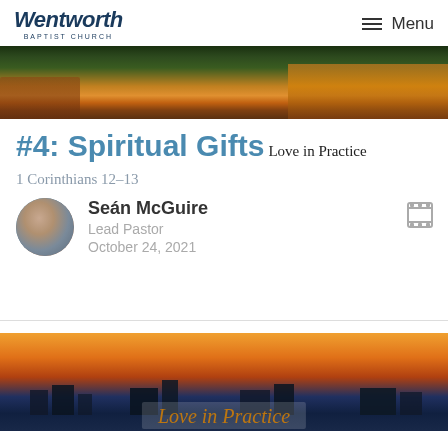Wentworth Baptist Church | Menu
[Figure (photo): Aerial night/dusk view of a city with trees and orange-lit buildings]
#4: Spiritual Gifts
Love in Practice
1 Corinthians 12–13
Seán McGuire
Lead Pastor
October 24, 2021
[Figure (photo): City skyline at sunset/dusk with orange sky, with 'Love in Practice' text overlay]